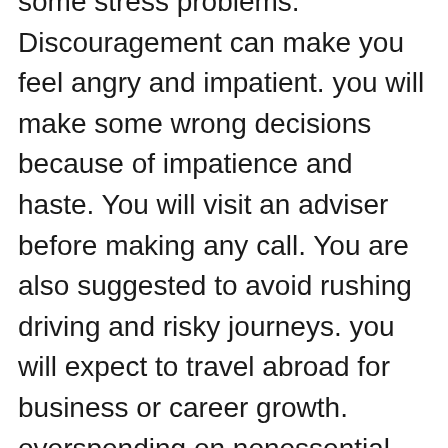some stress problems. Discouragement can make you feel angry and impatient. you will make some wrong decisions because of impatience and haste. You will visit an adviser before making any call. You are also suggested to avoid rushing driving and risky journeys. you will expect to travel abroad for business or career growth. overspending on nonessential items can have a detrimental effect on your financial health. From July 26 onwards things will be under control. you will feel the inner strength, you will keep patience before making any important decision. you will feel better and healthier. you will be ready to control your arrogance. In the middle of the week, you will be blessed with a positive moon, the untidy situation of last week will end